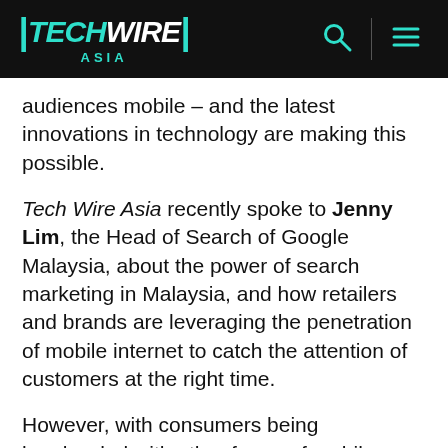TechWire Asia
audiences mobile – and the latest innovations in technology are making this possible.
Tech Wire Asia recently spoke to Jenny Lim, the Head of Search of Google Malaysia, about the power of search marketing in Malaysia, and how retailers and brands are leveraging the penetration of mobile internet to catch the attention of customers at the right time.
However, with consumers being bombarded with other forms of mobile advertising – whether that's social media video, pop-up banners, push notifications, or email marketing – businesses must get clever and tap into the natural behaviors of